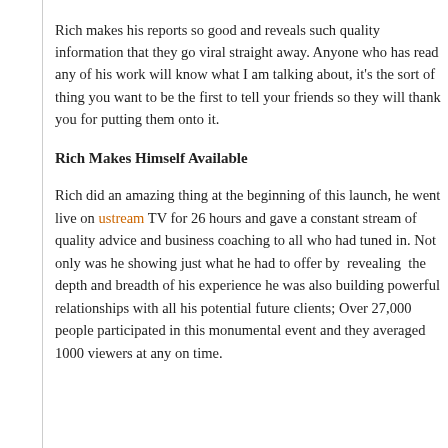Rich makes his reports so good and reveals such quality information that they go viral straight away. Anyone who has read any of his work will know what I am talking about, it's the sort of thing you want to be the first to tell your friends so they will thank you for putting them onto it.
Rich Makes Himself Available
Rich did an amazing thing at the beginning of this launch, he went live on ustream TV for 26 hours and gave a constant stream of quality advice and business coaching to all who had tuned in. Not only was he showing just what he had to offer by revealing the depth and breadth of his experience he was also building powerful relationships with all his potential future clients; Over 27,000 people participated in this monumental event and they averaged 1000 viewers at any one time.